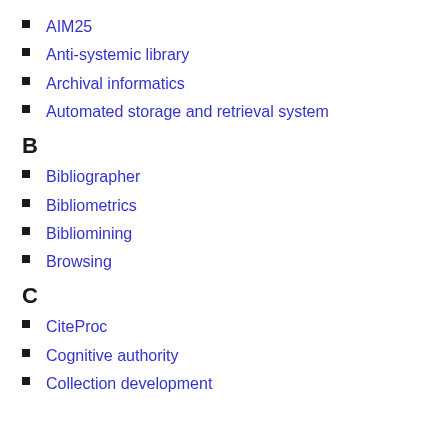AIM25
Anti-systemic library
Archival informatics
Automated storage and retrieval system
B
Bibliographer
Bibliometrics
Bibliomining
Browsing
C
CiteProc
Cognitive authority
Collection development